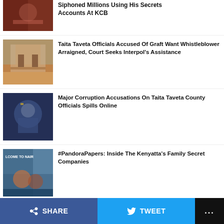Siphoned Millions Using His Secrets Accounts At KCB
Taita Taveta Officials Accused Of Graft Want Whistleblower Arraigned, Court Seeks Interpol's Assistance
Major Corruption Accusations On Taita Taveta County Officials Spills Online
#PandoraPapers: Inside The Kenyatta's Family Secret Companies
Petition: Marsabit Governor Mohammed Ali On The Spot Over Graft Allegations In Billions
SHARE   TWEET   ...